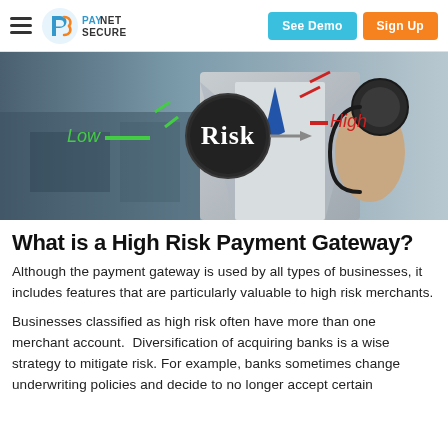PayNetSecure | See Demo | Sign Up
[Figure (photo): Hero image showing a person in a suit holding a stethoscope next to a dark circular badge reading 'Risk', with green indicator labeled 'Low' on the left and a red indicator labeled 'High' on the right, suggesting a risk meter/gauge concept.]
What is a High Risk Payment Gateway?
Although the payment gateway is used by all types of businesses, it includes features that are particularly valuable to high risk merchants.
Businesses classified as high risk often have more than one merchant account.  Diversification of acquiring banks is a wise strategy to mitigate risk. For example, banks sometimes change underwriting policies and decide to no longer accept certain